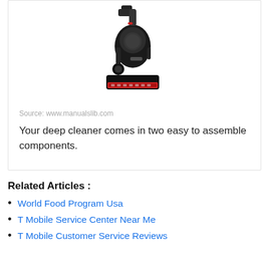[Figure (photo): A BISSELL deep carpet cleaner/shampooer machine, black with red accents, shown at an angle on a white background.]
Source: www.manualslib.com
Your deep cleaner comes in two easy to assemble components.
Related Articles :
World Food Program Usa
T Mobile Service Center Near Me
T Mobile Customer Service Reviews